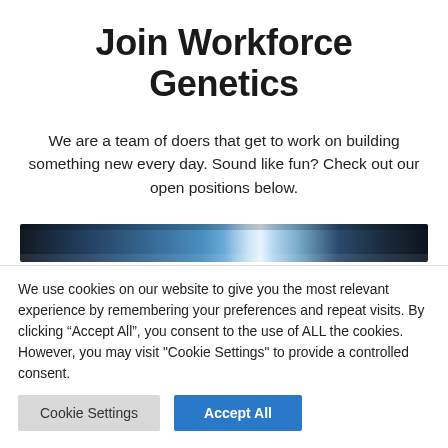Join Workforce Genetics
We are a team of doers that get to work on building something new every day. Sound like fun? Check out our open positions below.
[Figure (photo): Dark blue/teal banner image strip, partially visible, appears to be a decorative header photo with light reflection in the center]
We use cookies on our website to give you the most relevant experience by remembering your preferences and repeat visits. By clicking “Accept All”, you consent to the use of ALL the cookies. However, you may visit "Cookie Settings" to provide a controlled consent.
Cookie Settings | Accept All